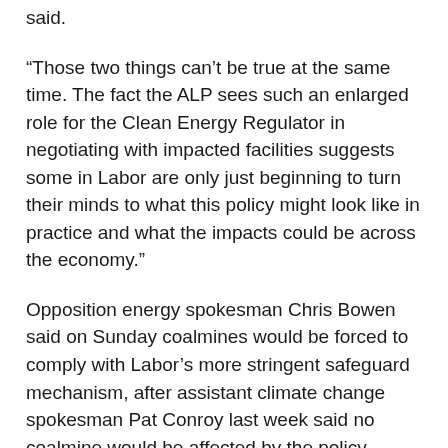said.
“Those two things can’t be true at the same time. The fact the ALP sees such an enlarged role for the Clean Energy Regulator in negotiating with impacted facilities suggests some in Labor are only just beginning to turn their minds to what this policy might look like in practice and what the impacts could be across the economy.”
Opposition energy spokesman Chris Bowen said on Sunday coalmines would be forced to comply with Labor’s more stringent safeguard mechanism, after assistant climate change spokesman Pat Conroy last week said no coalmine would be affected by the policy.
The safeguard mechanism was created by the Abbott government and captures facilities that emit more than 100,000 tonnes of carbon a year, including 60 coalmines. It has been criticised by climate groups for doing little to enforce a lower carbon footprint from major emitters.
Sky News host Peta Credlin says Prime Minister Scott